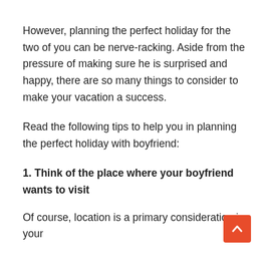However, planning the perfect holiday for the two of you can be nerve-racking. Aside from the pressure of making sure he is surprised and happy, there are so many things to consider to make your vacation a success.
Read the following tips to help you in planning the perfect holiday with boyfriend:
1. Think of the place where your boyfriend wants to visit
Of course, location is a primary consideration in your